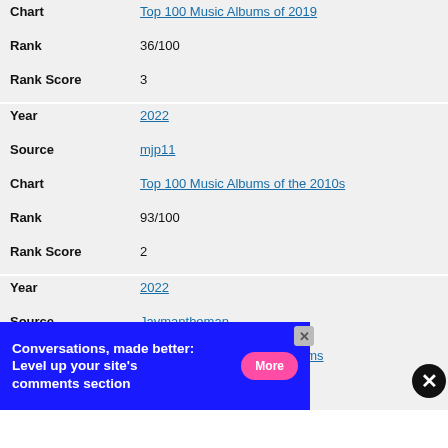| Field | Value |
| --- | --- |
| Chart | Top 100 Music Albums of 2019 |
| Rank | 36/100 |
| Rank Score | 3 |
| Field | Value |
| --- | --- |
| Year | 2022 |
| Source | mjp11 |
| Chart | Top 100 Music Albums of the 2010s |
| Rank | 93/100 |
| Rank Score | 2 |
| Field | Value |
| --- | --- |
| Year | 2022 |
| Source | Jaymantheman |
| Chart | Top 100 Greatest Music Albums |
| Rank | 55/100 |
[Figure (infographic): Advertisement banner: 'Conversations, made better: Level up your site's comments section' with a pink 'More' button on blue background]